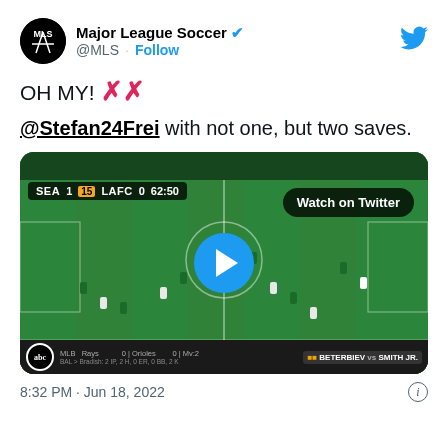[Figure (screenshot): Twitter/X tweet from Major League Soccer (@MLS) showing a soccer match video thumbnail. Tweet text: 'OH MY! XX @Stefan24Frei with not one, but two saves.' Video shows SEA 1 vs LAFC 0 at 62:50 with a Watch on Twitter button and play button overlay. Timestamp: 8:32 PM · Jun 18, 2022]
OH MY! ❌❌
@Stefan24Frei with not one, but two saves.
8:32 PM · Jun 18, 2022